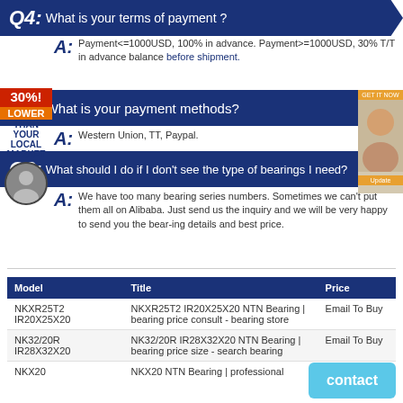Q4: What is your terms of payment ?
A: Payment<=1000USD, 100% in advance. Payment>=1000USD, 30% T/T in advance balance before shipment.
Q5: What is your payment methods?
A: Western Union, TT, Paypal.
Q6: What should I do if I don't see the type of bearings I need?
A: We have too many bearing series numbers. Sometimes we can't put them all on Alibaba. Just send us the inquiry and we will be very happy to send you the bearing details and best price.
| Model | Title | Price |
| --- | --- | --- |
| NKXR25T2 IR20X25X20 | NKXR25T2 IR20X25X20 NTN Bearing | bearing price consult - bearing store | Email To Buy |
| NK32/20R IR28X32X20 | NK32/20R IR28X32X20 NTN Bearing | bearing price size - search bearing | Email To Buy |
| NKX20 | NKX20 NTN Bearing | professional | Email To |